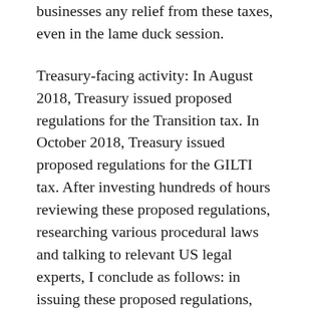businesses any relief from these taxes, even in the lame duck session.
Treasury-facing activity: In August 2018, Treasury issued proposed regulations for the Transition tax. In October 2018, Treasury issued proposed regulations for the GILTI tax. After investing hundreds of hours reviewing these proposed regulations, researching various procedural laws and talking to relevant US legal experts, I conclude as follows: in issuing these proposed regulations, Treasury seriously violated at least 3 federal procedural laws – (i) the Regulatory Flexibility Act (RFA), which expressly gives Treasury the authority to exempt small businesses from the Transition & GILTI taxes; (ii) the American Procedures Act...